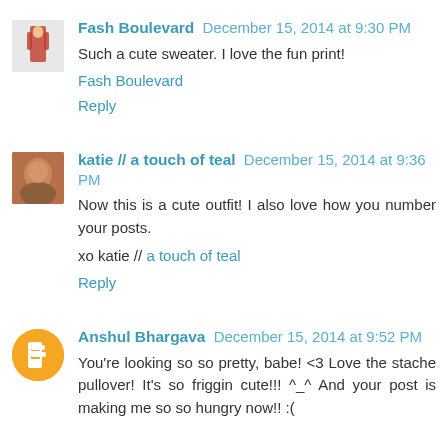Fash Boulevard December 15, 2014 at 9:30 PM
Such a cute sweater. I love the fun print!
Fash Boulevard
Reply
katie // a touch of teal December 15, 2014 at 9:36 PM
Now this is a cute outfit! I also love how you number your posts.
xo katie // a touch of teal
Reply
Anshul Bhargava December 15, 2014 at 9:52 PM
You're looking so so pretty, babe! <3 Love the stache pullover! It's so friggin cute!!! ^_^ And your post is making me so so hungry now!! :(